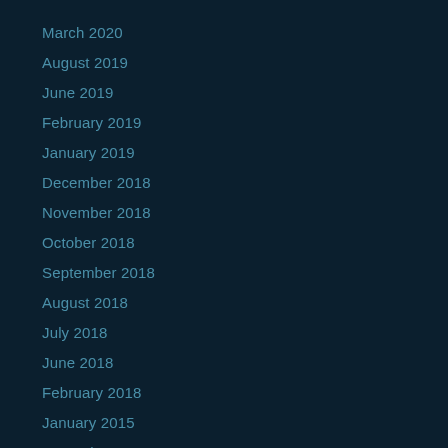March 2020
August 2019
June 2019
February 2019
January 2019
December 2018
November 2018
October 2018
September 2018
August 2018
July 2018
June 2018
February 2018
January 2015
November 2014